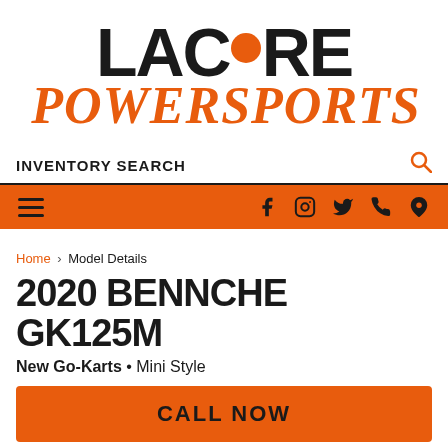[Figure (logo): Lacore Powersports logo: bold black text LAC with orange dot replacing the O, then ORE, and italic orange script POWERSPORTS below]
INVENTORY SEARCH
[Figure (infographic): Orange navigation bar with hamburger menu on left and social/contact icons (Facebook, Instagram, Twitter, phone, location) on right]
Home > Model Details
2020 BENNCHE GK125M
New Go-Karts • Mini Style
CALL NOW